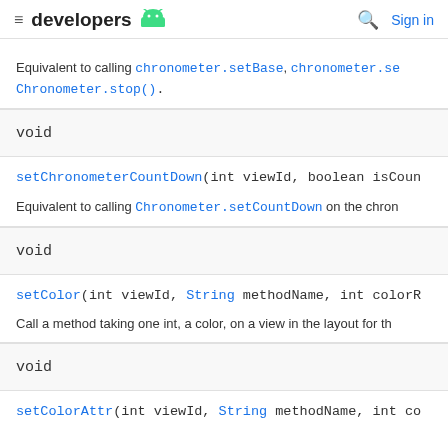developers [android icon] | [search icon] Sign in
Equivalent to calling Chronometer.setBase, Chronometer.se Chronometer.stop().
void
setChronometerCountDown(int viewId, boolean isCoun
Equivalent to calling Chronometer.setCountDown on the chron
void
setColor(int viewId, String methodName, int colorR
Call a method taking one int, a color, on a view in the layout for th
void
setColorAttr(int viewId, String methodName, int co